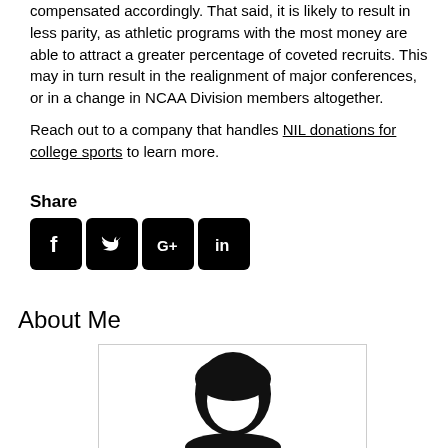compensated accordingly. That said, it is likely to result in less parity, as athletic programs with the most money are able to attract a greater percentage of coveted recruits. This may in turn result in the realignment of major conferences, or in a change in NCAA Division members altogether.

Reach out to a company that handles NIL donations for college sports to learn more.
Share
[Figure (other): Social media sharing icons: Facebook, Twitter, Google+, LinkedIn]
About Me
[Figure (illustration): Generic person/avatar silhouette icon in a bordered box]